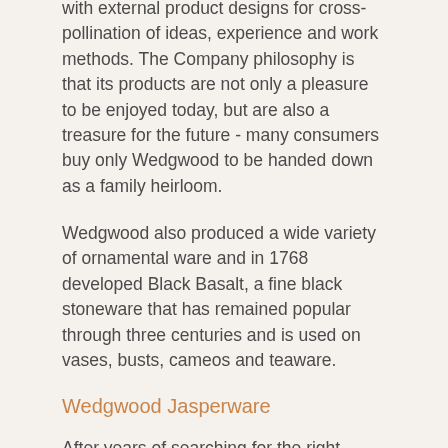with external product designs for cross-pollination of ideas, experience and work methods. The Company philosophy is that its products are not only a pleasure to be enjoyed today, but are also a treasure for the future - many consumers buy only Wedgwood to be handed down as a family heirloom.
Wedgwood also produced a wide variety of ornamental ware and in 1768 developed Black Basalt, a fine black stoneware that has remained popular through three centuries and is used on vases, busts, cameos and teaware.
Wedgwood Jasperware
After years of searching for the right ingredients and thousands of experiments, Wedgwood perfected Jasperware - a very fine-grained stoneware, colored throughout the body. Jasper was prized by Wedgwood above all his creations and, until his death in 1795, he devoted much of his energy to producing a wide range of pieces from cameos to portrait medallions to